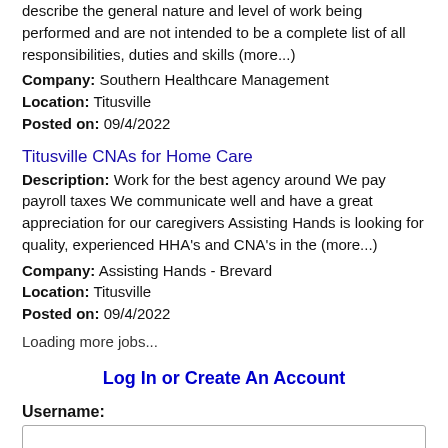describe the general nature and level of work being performed and are not intended to be a complete list of all responsibilities, duties and skills (more...)
Company: Southern Healthcare Management
Location: Titusville
Posted on: 09/4/2022
Titusville CNAs for Home Care
Description: Work for the best agency around We pay payroll taxes We communicate well and have a great appreciation for our caregivers Assisting Hands is looking for quality, experienced HHA's and CNA's in the (more...)
Company: Assisting Hands - Brevard
Location: Titusville
Posted on: 09/4/2022
Loading more jobs...
Log In or Create An Account
Username:
Password: